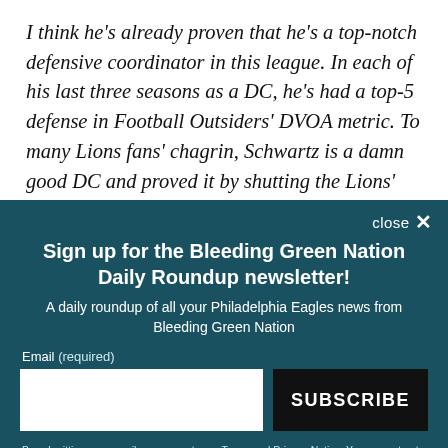I think he's already proven that he's a top-notch defensive coordinator in this league. In each of his last three seasons as a DC, he's had a top-5 defense in Football Outsiders' DVOA metric. To many Lions fans' chagrin, Schwartz is a damn good DC and proved it by shutting the Lions' offense down in 2014. He then
close ×
Sign up for the Bleeding Green Nation Daily Roundup newsletter!
A daily roundup of all your Philadelphia Eagles news from Bleeding Green Nation
Email (required)
SUBSCRIBE
By submitting your email, you agree to our Terms and Privacy Notice. You can opt out at any time. This site is protected by reCAPTCHA and the Google Privacy Policy and Terms of Service apply.